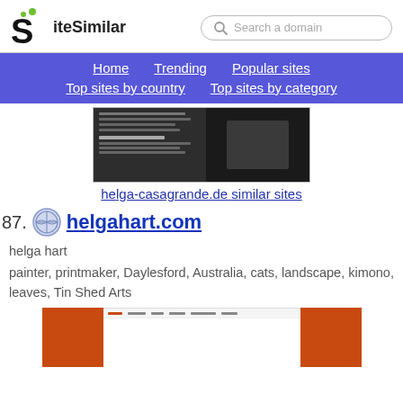[Figure (logo): SiteSimilar logo with stylized S and green dots]
Search a domain
Home  Trending  Popular sites  Top sites by country  Top sites by category
[Figure (screenshot): Thumbnail screenshot of helga-casagrande.de website]
helga-casagrande.de similar sites
87. helgahart.com
helga hart
painter, printmaker, Daylesford, Australia, cats, landscape, kimono, leaves, Tin Shed Arts
[Figure (screenshot): Thumbnail screenshot of helgahart.com website with orange background]